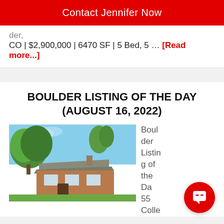Contact Jennifer Now
der, CO | $2,900,000 | 6470 SF | 5 Bed, 5 … [Read more...]
BOULDER LISTING OF THE DAY (AUGUST 16, 2022)
[Figure (photo): Exterior photo of a mid-century modern home with large trees, wood siding, and a low-pitched shingled roof]
Boulder Listing of the Day 55 Colle